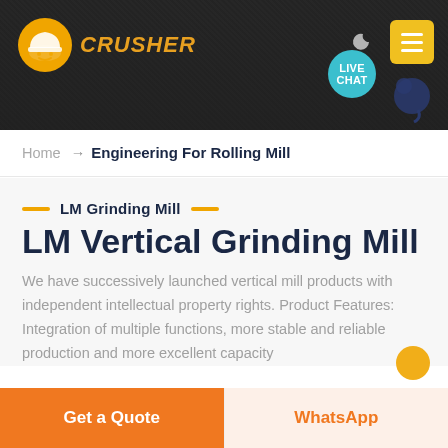[Figure (screenshot): Website header banner with dark/rocky background, orange mining helmet logo on left, moon icon and yellow hamburger menu button on right, teal 'LIVE CHAT' speech bubble in upper right corner]
Home → Engineering For Rolling Mill
LM Grinding Mill
LM Vertical Grinding Mill
We have successively launched vertical mill products with independent intellectual property rights. Product Features: Integration of multiple functions, more stable and reliable production and more excellent capacity